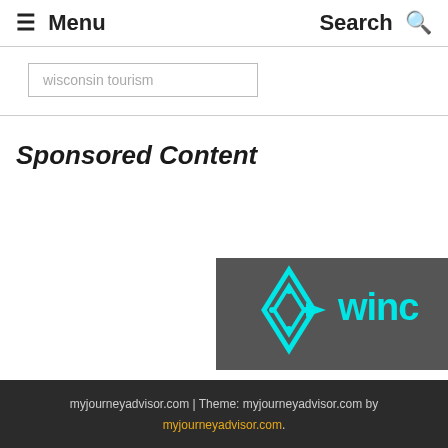Menu  Search
wisconsin tourism
Sponsored Content
[Figure (logo): Winc logo on dark grey background with cyan diamond/arrow icon and partial text 'winc']
myjourneyadvisor.com | Theme: myjourneyadvisor.com by myjourneyadvisor.com. Back to Top